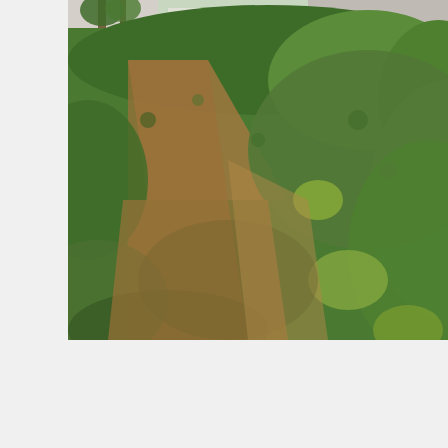[Figure (photo): Outdoor photo of a front yard showing dense green ground-cover plants and shrubs with a dirt/mulch pathway, and a glimpse of a white house with trees in the background at the top.]
Open House: Saturday, 9/3 1:00-4:00PM
Beds: 3
Sq.Ft.: 1,449